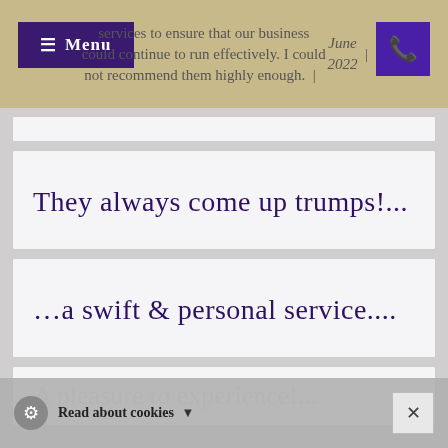Menu | services to ensure that our business could continue to run effectively. I could not recommend them highly enough. | June 2022 |
They always come up trumps!...
...a swift & personal service....
A pleasure to experience!...
Read about cookies